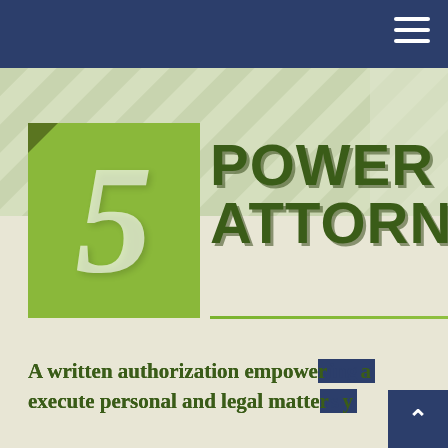[Figure (infographic): Infographic page header showing '5 POWER OF ATTORNEY' with a large green number 5 box on the left, diagonal stripe pattern background, and text below reading 'A written authorization empowering a [person to] execute personal and legal matters on y[our behalf]']
5 POWER ATTORNEY
A written authorization empowering a [person to] execute personal and legal matters on y[our behalf]